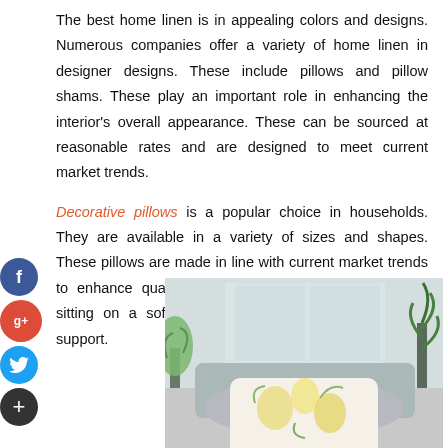The best home linen is in appealing colors and designs. Numerous companies offer a variety of home linen in designer designs. These include pillows and pillow shams. These play an important role in enhancing the interior's overall appearance. These can be sourced at reasonable rates and are designed to meet current market trends.
Decorative pillows is a popular choice in households. They are available in a variety of sizes and shapes. These pillows are made in line with current market trends to enhance quality sleep. These pillows are ideal for sitting on a sofa or bed and provide complete back support.
[Figure (photo): Photo of decorative pillows with floral pattern on a sofa/chair, with plants in the background]